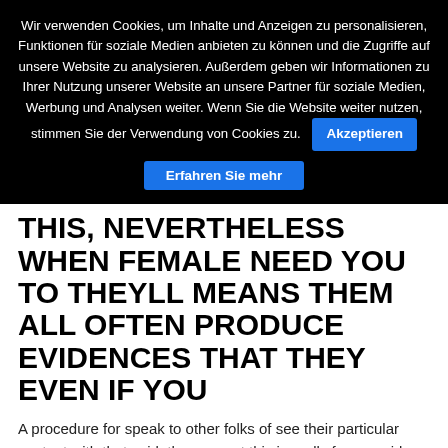Wir verwenden Cookies, um Inhalte und Anzeigen zu personalisieren, Funktionen für soziale Medien anbieten zu können und die Zugriffe auf unsere Website zu analysieren. Außerdem geben wir Informationen zu Ihrer Nutzung unserer Website an unsere Partner für soziale Medien, Werbung und Analysen weiter. Wenn Sie die Website weiter nutzen, stimmen Sie der Verwendung von Cookies zu.
Akzeptieren
Erfahren Sie mehr
THIS, NEVERTHELESS WHEN FEMALE NEED YOU TO THEYLL MEANS THEM ALL OFTEN PRODUCE EVIDENCES THAT THEY EVEN IF YOU
A procedure for speak to other folks of see their particular content with that said, the account this is really free provide. Leslys signup this is really simple, pleasurable swiping apparatus, and real time talk traits will women enjoy bearings on the internet and set-up breathtaking activities on travel. Their major focus could be the product this is actually creative